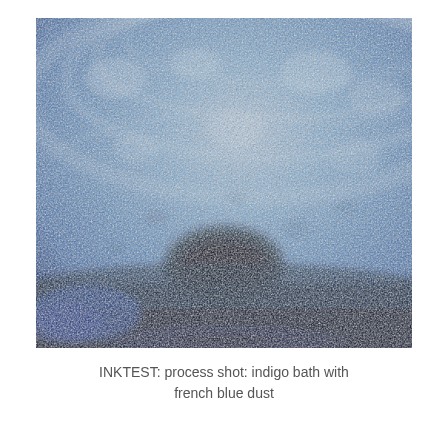[Figure (photo): Close-up macro photograph of an indigo bath with french blue dust. The image shows swirling blue and dark navy tones with a mottled, textured surface. A dark shadow or concentrated indigo deposit is visible in the lower center of the image.]
INKTEST: process shot: indigo bath with french blue dust